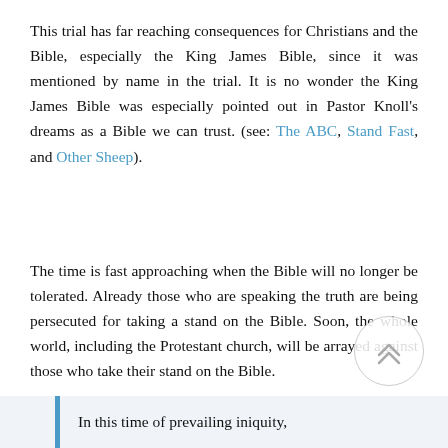This trial has far reaching consequences for Christians and the Bible, especially the King James Bible, since it was mentioned by name in the trial. It is no wonder the King James Bible was especially pointed out in Pastor Knoll's dreams as a Bible we can trust. (see: The ABC, Stand Fast, and Other Sheep).
The time is fast approaching when the Bible will no longer be tolerated. Already those who are speaking the truth are being persecuted for taking a stand on the Bible. Soon, the whole world, including the Protestant church, will be arrayed against those who take their stand on the Bible.
In this time of prevailing iniquity,